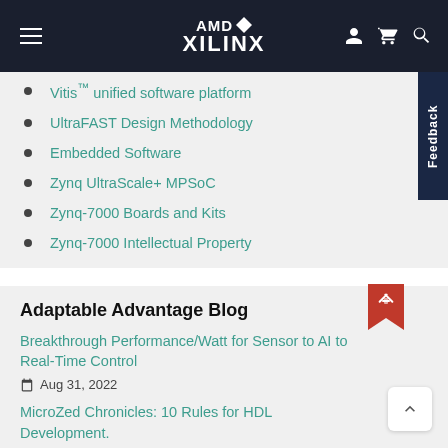AMD XILINX
Vitis™ unified software platform
UltraFAST Design Methodology
Embedded Software
Zynq UltraScale+ MPSoC
Zynq-7000 Boards and Kits
Zynq-7000 Intellectual Property
Adaptable Advantage Blog
Breakthrough Performance/Watt for Sensor to AI to Real-Time Control
Aug 31, 2022
MicroZed Chronicles: 10 Rules for HDL Development.